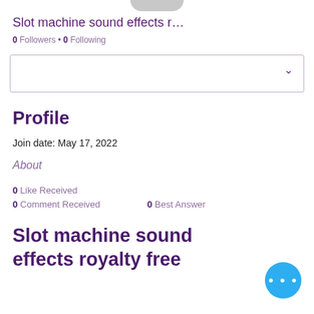[Figure (illustration): Partial avatar/profile image cropped at top of page]
Slot machine sound effects r…
0 Followers • 0 Following
[Figure (screenshot): Dropdown/select box with chevron arrow]
Profile
Join date: May 17, 2022
About
0 Like Received
0 Comment Received   0 Best Answer
Slot machine sound effects royalty free
[Figure (illustration): Blue circular FAB button with three white dots (more options)]